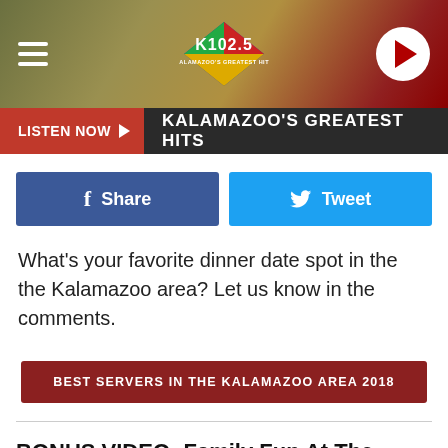[Figure (screenshot): K102.5 radio station website header with logo, hamburger menu, and play button on dark background]
LISTEN NOW ▶  KALAMAZOO'S GREATEST HITS
[Figure (infographic): Facebook Share button and Twitter Tweet button]
What's your favorite dinner date spot in the the Kalamazoo area?  Let us know in the comments.
[Figure (infographic): Red button: BEST SERVERS IN THE KALAMAZOO AREA 2018]
BONUS VIDEO: Family Fun At The Adventure Park At West Bloomfield, Michigan